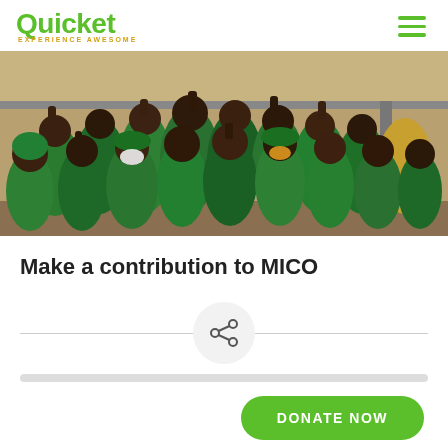Quicket EXPERIENCE AWESOME
[Figure (photo): Group photo of many people in green uniforms/shirts raising fists outdoors under a roof structure]
Make a contribution to MICO
[Figure (infographic): Share icon in a circle with horizontal divider lines on either side]
DONATE NOW